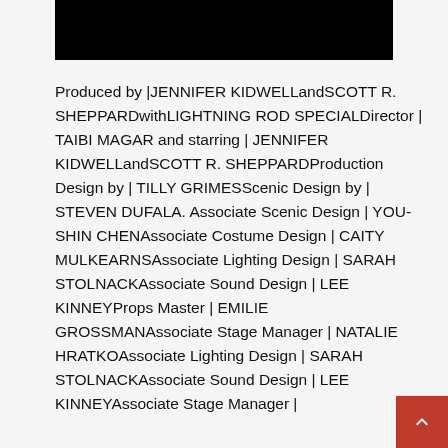[Figure (other): Black banner/header image at the top of the page]
Produced by |JENNIFER KIDWELLandSCOTT R. SHEPPARDwithLIGHTNING ROD SPECIALDirector |TAIBI MAGAR and starring |JENNIFER KIDWELLandSCOTT R. SHEPPARDProduction Design by |TILLY GRIMESScenic Design by |STEVEN DUFALA. Associate Scenic Design | YOU-SHIN CHENAssociate Costume Design | CAITY MULKEARNSAssociate Lighting Design | SARAH STOLNACKAssociate Sound Design |LEE KINNEYProps Master |EMILIE GROSSMANAssociate Stage Manager | NATALIE HRATKOAssociate Lighting Design | SARAH STOLNACKAssociate Sound Design | LEE KINNEYAssociate Stage Manager |